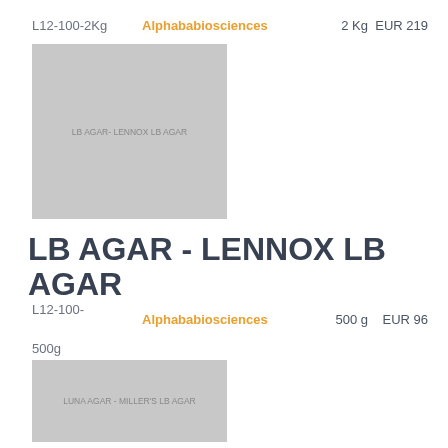L12-100-2Kg   Alphababiosciences   2 Kg   EUR 219
[Figure (photo): Product image placeholder showing text: LB AGAR - LENNOX LB AGAR]
LB AGAR - LENNOX LB AGAR
L12-100-500g   Alphababiosciences   500 g   EUR 96
[Figure (photo): Product image placeholder showing text: LUNA AGAR - MILLER'S LB AGAR]